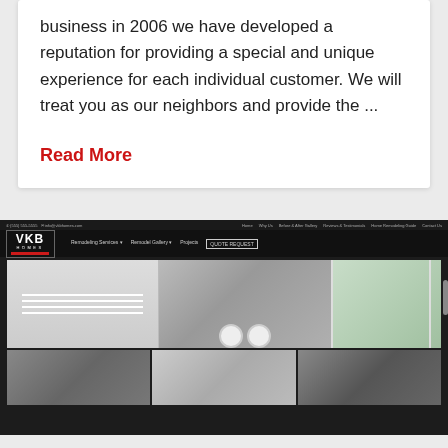business in 2006 we have developed a reputation for providing a special and unique experience for each individual customer. We will treat you as our neighbors and provide the ...
Read More
[Figure (screenshot): Screenshot of VKB Homes website showing the company logo, navigation bar with Remodeling Services, Remodel Gallery, Projects, Quote Request, and a large photo of a laundry room with white shelving and washer/dryer, plus a bottom row of three smaller interior room photos.]